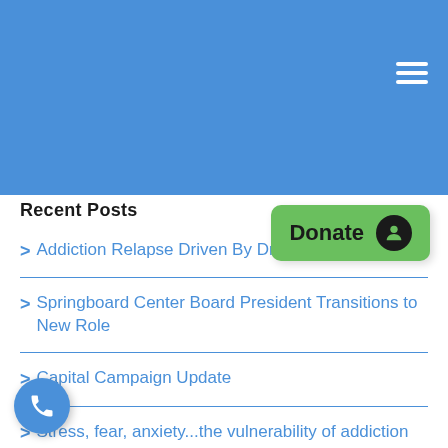Recent Posts
Addiction Relapse Driven By Drug-S...
Springboard Center Board President Transitions to New Role
Capital Campaign Update
Stress, fear, anxiety...the vulnerability of addiction during a pandemic
...essage from Executive Director Mark Alexander